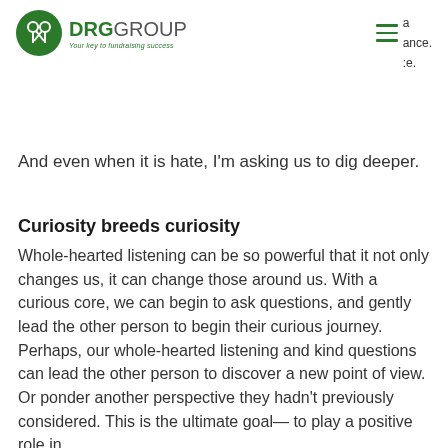DRG GROUP — Your key to fundraising success
And even when it is hate, I'm asking us to dig deeper.
Curiosity breeds curiosity
Whole-hearted listening can be so powerful that it not only changes us, it can change those around us. With a curious core, we can begin to ask questions, and gently lead the other person to begin their curious journey. Perhaps, our whole-hearted listening and kind questions can lead the other person to discover a new point of view. Or ponder another perspective they hadn't previously considered. This is the ultimate goal— to play a positive role in